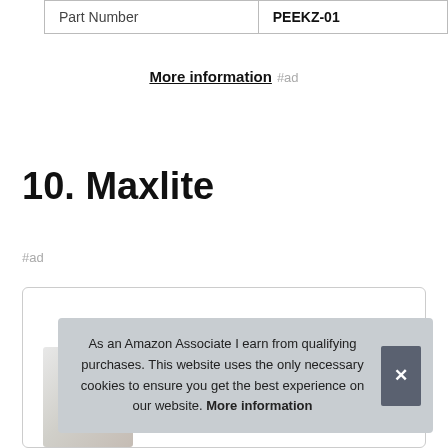| Part Number | PEEKZ-01 |
| --- | --- |
More information #ad
10. Maxlite
#ad
[Figure (photo): Product image area inside a bordered box]
As an Amazon Associate I earn from qualifying purchases. This website uses the only necessary cookies to ensure you get the best experience on our website. More information